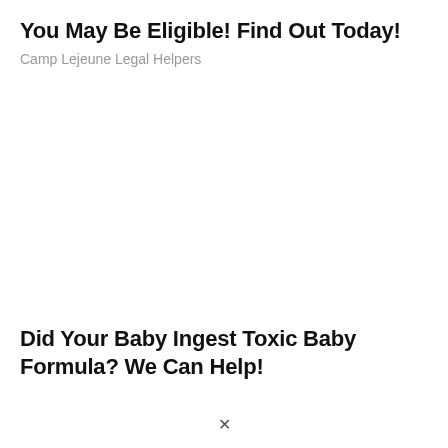You May Be Eligible! Find Out Today!
Camp Lejeune Legal Helpers
Did Your Baby Ingest Toxic Baby Formula? We Can Help!